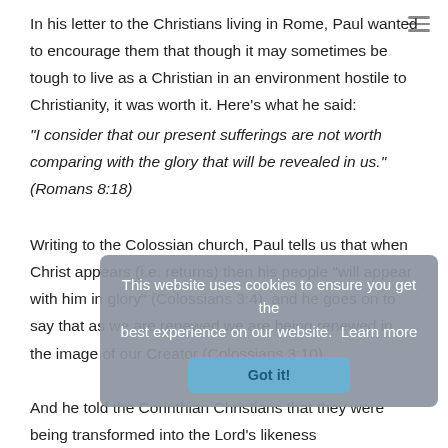In his letter to the Christians living in Rome, Paul wanted to encourage them that though it may sometimes be tough to live as a Christian in an environment hostile to Christianity, it was worth it. Here's what he said:
"I consider that our present sufferings are not worth comparing with the glory that will be revealed in us." (Romans 8:18)
Writing to the Colossian church, Paul tells us that when Christ appears (i.e. returns) then his people "will appear with him in glory" (Colossians 3:4), and he goes on to say that as we are renewed we are being renewed in the image of our Creator (Colossians 3:10).
And he told the Corinthian Christians that they were being transformed into the Lord's likeness
"with ever-increasing glory"
This website uses cookies to ensure you get the best experience on our website. Learn more